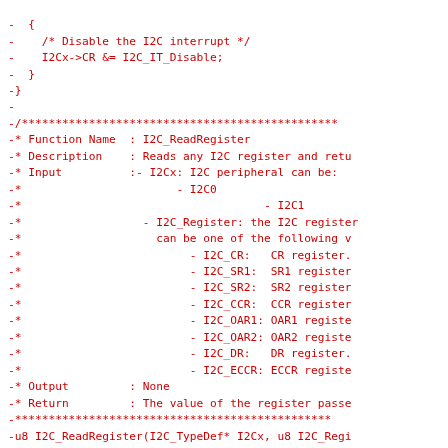Code listing showing I2C_ReadRegister function documentation and implementation in C, displayed as a diff (lines prefixed with -).